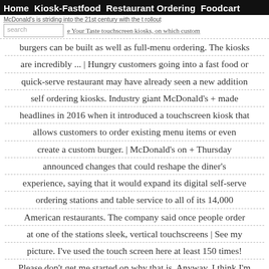Home  Kiosk-Fastfood  Restaurant Ordering  Foodcart
McDonald's is striding into the 21st century with the rollout ... Your Taste touchscreen kiosks, on which custom burgers can be built as well as full-menu ordering. The kiosks are incredibly ...
McDonald's is striding into the 21st century with the rollout of the Create Your Taste touchscreen kiosks, on which custom burgers can be built as well as full-menu ordering. The kiosks are incredibly ... | Hungry customers going into a fast food or quick-serve restaurant may have already seen a new addition self ordering kiosks. Industry giant McDonald's + made headlines in 2016 when it introduced a touchscreen kiosk that allows customers to order existing menu items or even create a custom burger. | McDonald's on + Thursday announced changes that could reshape the diner's experience, saying that it would expand its digital self-serve ordering stations and table service to all of its 14,000 American restaurants. The company said once people order at one of the stations sleek, vertical touchscreens | See my picture. I've used the touch screen here at least 150 times! Please don't get me started on why that is. Anyway, I think I'm